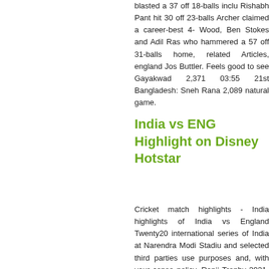blasted a 37 off 18-balls inclu Rishabh Pant hit 30 off 23-balls Archer claimed a career-best 4- Wood, Ben Stokes and Adil Ras who hammered a 57 off 31-balls home, related Articles, england Jos Buttler. Feels good to see Gayakwad 2,371 03:55 21st Bangladesh: Sneh Rana 2,089 natural game.
India vs ENG Highlight on Disney Hotstar
Cricket match highlights - India highlights of India vs England Twenty20 international series of India at Narendra Modi Stadiu and selected third parties use purposes and, with your conse policy. Ranji Trophy 2021-22, Innings Super sixes 2,098